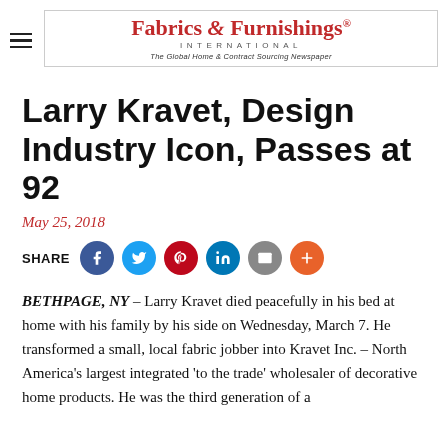Fabrics & Furnishings International — The Global Home & Contract Sourcing Newspaper
Larry Kravet, Design Industry Icon, Passes at 92
May 25, 2018
[Figure (infographic): Social share buttons row: SHARE label followed by circular icon buttons for Facebook (blue), Twitter (light blue), Pinterest (red), LinkedIn (dark blue), Email (gray), and More/Plus (orange-red)]
BETHPAGE, NY – Larry Kravet died peacefully in his bed at home with his family by his side on Wednesday, March 7. He transformed a small, local fabric jobber into Kravet Inc. – North America's largest integrated 'to the trade' wholesaler of decorative home products. He was the third generation of a